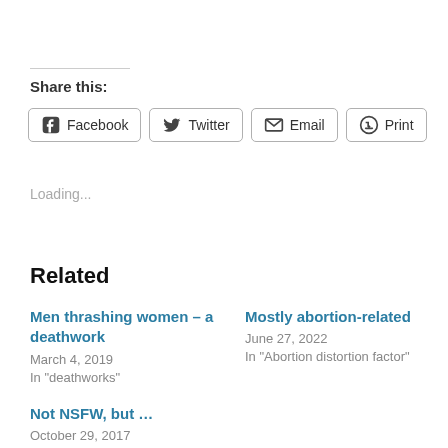Share this:
Facebook  Twitter  Email  Print
Loading...
Related
Men thrashing women – a deathwork
March 4, 2019
In "deathworks"
Mostly abortion-related
June 27, 2022
In "Abortion distortion factor"
Not NSFW, but …
October 29, 2017